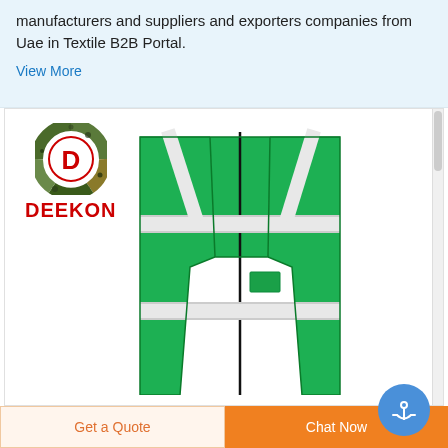manufacturers and suppliers and exporters companies from Uae in Textile B2B Portal.
View More
[Figure (logo): DEEKON logo: circular camouflage-pattern ring with red D in center, with DEEKON text in bold red below]
[Figure (photo): Green high-visibility safety vest with white/silver reflective strips, black zipper, photographed on white background]
Get a Quote
Chat Now